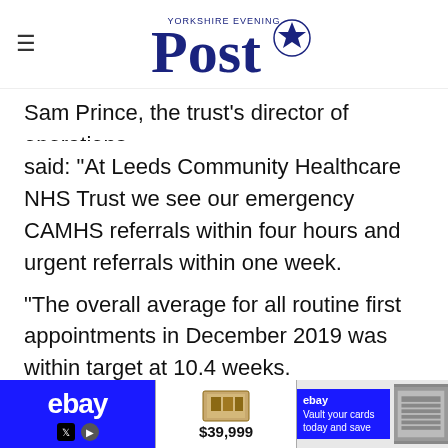Yorkshire Evening Post
Sam Prince, the trust's director of operations, said: "At Leeds Community Healthcare NHS Trust we see our emergency CAMHS referrals within four hours and urgent referrals within one week.
"The overall average for all routine first appointments in December 2019 was within target at 10.4 weeks.
"This is higher for routine autism and ADHD appointments...
[Figure (other): Advertisement bar at bottom: eBay ad, product at $39,999, and another eBay ad]